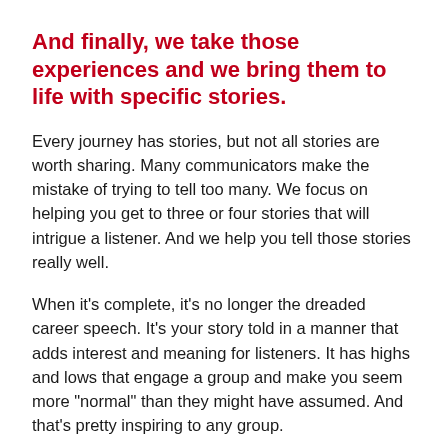And finally, we take those experiences and we bring them to life with specific stories.
Every journey has stories, but not all stories are worth sharing. Many communicators make the mistake of trying to tell too many. We focus on helping you get to three or four stories that will intrigue a listener. And we help you tell those stories really well.
When it's complete, it's no longer the dreaded career speech. It's your story told in a manner that adds interest and meaning for listeners. It has highs and lows that engage a group and make you seem more "normal" than they might have assumed. And that's pretty inspiring to any group.
So, when you're asked to talk about yourself, let us help